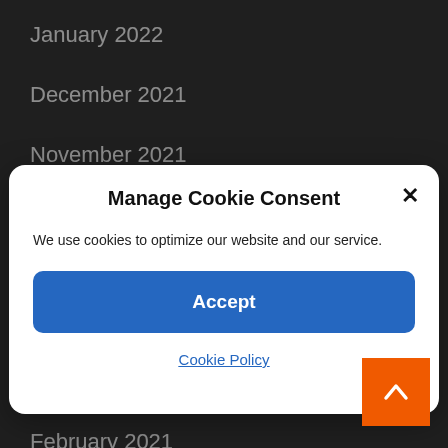January 2022
December 2021
November 2021
October 2021
Manage Cookie Consent
We use cookies to optimize our website and our service.
Accept
Cookie Policy
April 2021
March 2021
February 2021